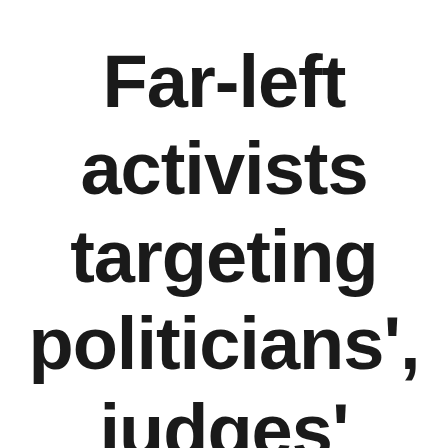Far-left activists targeting politicians', judges' homes